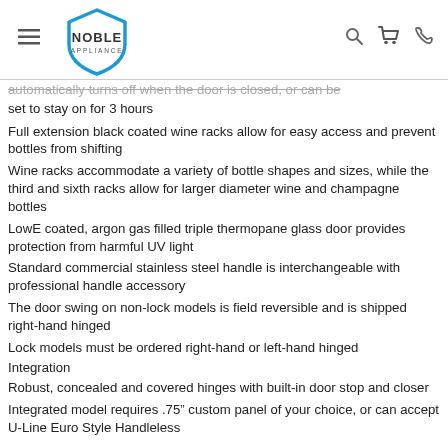Noble Appliance — navigation header
automatically turns off when the door is closed, or can be set to stay on for 3 hours
Full extension black coated wine racks allow for easy access and prevent bottles from shifting
Wine racks accommodate a variety of bottle shapes and sizes, while the third and sixth racks allow for larger diameter wine and champagne bottles
LowE coated, argon gas filled triple thermopane glass door provides protection from harmful UV light
Standard commercial stainless steel handle is interchangeable with professional handle accessory
The door swing on non-lock models is field reversible and is shipped right-hand hinged
Lock models must be ordered right-hand or left-hand hinged
Integration
Robust, concealed and covered hinges with built-in door stop and closer
Integrated model requires .75″ custom panel of your choice, or can accept U-Line Euro Style Handleless